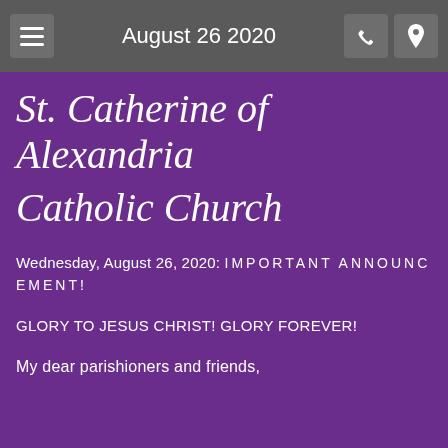August 26 2020
St. Catherine of Alexandria Catholic Church
Wednesday, August 26, 2020: IMPORTANT ANNOUNCEMENT!
GLORY TO JESUS CHRIST! GLORY FOREVER!
My dear parishioners and friends,